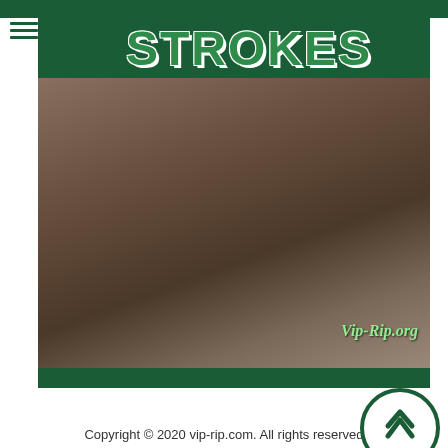[Figure (screenshot): Website screenshot showing FamilyStrokes.com siterip page with logo at top, a photo in the center, watermark 'Vip-Rip.org', and dark green banner at bottom reading 'FamilyStrokes.com - SITERIP']
Copyright © 2020 vip-rip.com. All rights reserved